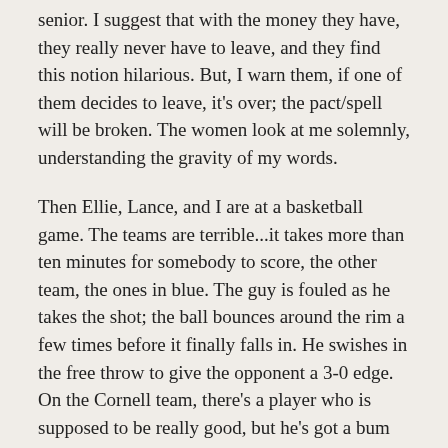senior. I suggest that with the money they have, they really never have to leave, and they find this notion hilarious. But, I warn them, if one of them decides to leave, it's over; the pact/spell will be broken. The women look at me solemnly, understanding the gravity of my words.
Then Ellie, Lance, and I are at a basketball game. The teams are terrible...it takes more than ten minutes for somebody to score, the other team, the ones in blue. The guy is fouled as he takes the shot; the ball bounces around the rim a few times before it finally falls in. He swishes in the free throw to give the opponent a 3-0 edge. On the Cornell team, there's a player who is supposed to be really good, but he's got a bum leg. His entire leg looks like it's in a cast. Ellie and Lance are ignoring me, so I leave.
Then I'm in the dining hall and I continue to feel like an outsider. So many diners, and yet I don't know anyone, and I can't buy anything because I don't have a swipe-able meal